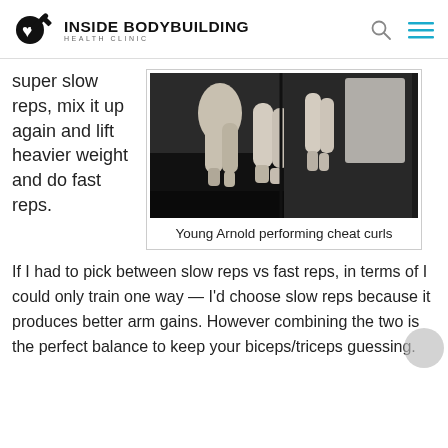INSIDE BODYBUILDING HEALTH CLINIC
super slow reps, mix it up again and lift heavier weight and do fast reps.
[Figure (photo): Black and white photograph of young Arnold Schwarzenegger performing cheat curls, showing legs and lower body stance]
Young Arnold performing cheat curls
If I had to pick between slow reps vs fast reps, in terms of I could only train one way — I'd choose slow reps because it produces better arm gains. However combining the two is the perfect balance to keep your biceps/triceps guessing.